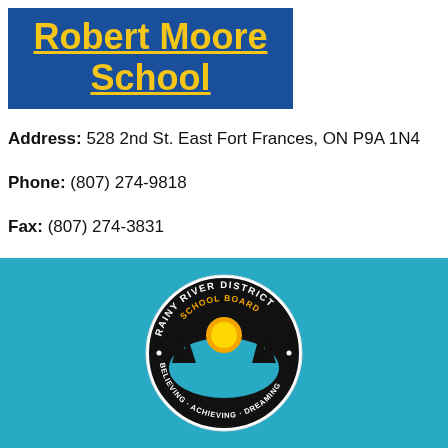Robert Moore School
Address: 528 2nd St. East Fort Frances, ON P9A 1N4
Phone: (807) 274-9818
Fax: (807) 274-3831
Principal: Kerri Tolen
kerri.tolen@rrdsb.com
Website: http://rms.rrdsb.com/
[Figure (logo): Rainy River District School Board circular logo with a river, sunset, and trees. Text reads: RAINY RIVER DISTRICT SCHOOL BOARD · BELIEVING · ACHIEVING · DREAMING]